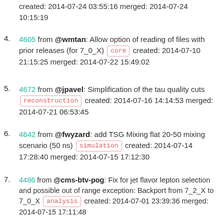created: 2014-07-24 03:55:16 merged: 2014-07-24 10:15:19
4. 4605 from @wmtan: Allow option of reading of files with prior releases (for 7_0_X) [core] created: 2014-07-10 21:15:25 merged: 2014-07-22 15:49:02
5. 4672 from @jpavel: Simplification of the tau quality cuts [reconstruction] created: 2014-07-16 14:14:53 merged: 2014-07-21 06:53:45
6. 4642 from @fwyzard: add TSG Mixing flat 20-50 mixing scenario (50 ns) [simulation] created: 2014-07-14 17:28:40 merged: 2014-07-15 17:12:30
7. 4486 from @cms-btv-pog: Fix for jet flavor lepton selection and possible out of range exception: Backport from 7_2_X to 7_0_X [analysis] created: 2014-07-01 23:39:36 merged: 2014-07-15 17:11:48
8. 4508 from @jpavel: PU weighting (70x) [analysis] [reconstruction] created: 2014-07-03 14:41:18 merged: 2014-07-15 17:11:26